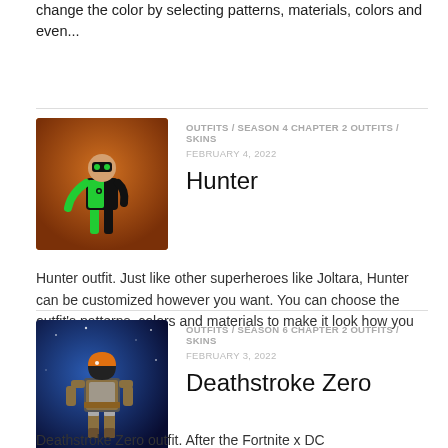change the color by selecting patterns, materials, colors and even...
OUTFITS / SEASON 4 CHAPTER 2 OUTFITS / SKINS
FEBRUARY 4, 2022
[Figure (illustration): Hunter outfit character - a figure in green and black superhero costume against an orange/brown background]
Hunter
Hunter outfit. Just like other superheroes like Joltara, Hunter can be customized however you want. You can choose the outfit's patterns, colors and materials to make it look how you want or to make it...
OUTFITS / SEASON 6 CHAPTER 2 OUTFITS / SKINS
FEBRUARY 3, 2022
[Figure (illustration): Deathstroke Zero outfit character - armored figure against a blue/purple background]
Deathstroke Zero
Deathstroke Zero outfit. After the Fortnite x DC